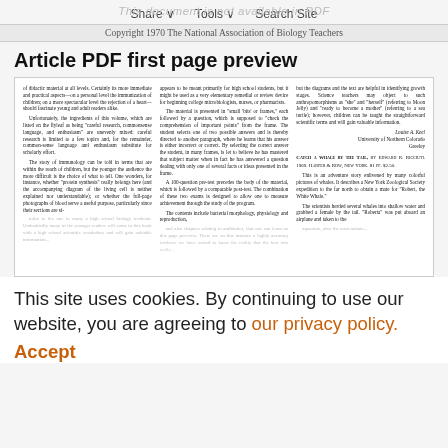This document is not available in PDF | Share | Tools | Search Site
Copyright 1970 The National Association of Biology Teachers
Article PDF first page preview
[Figure (screenshot): Three-column preview of a biology journal article page discussing didactic material, immunology, and book reviews including 'Catch a Whale by the Tail' by Edward R. Ricciuti.]
This site uses cookies. By continuing to use our website, you are agreeing to our privacy policy. Accept